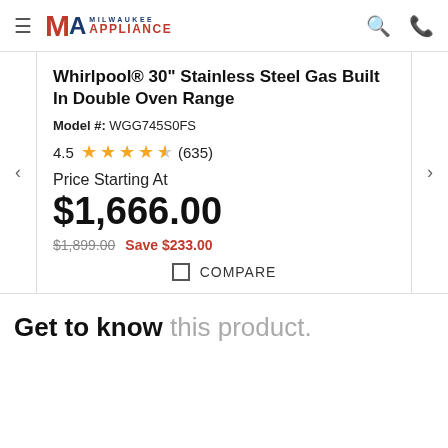Milwaukee Appliance
Whirlpool® 30" Stainless Steel Gas Built In Double Oven Range
Model #: WGG745S0FS
4.5 ★★★★½ (635)
Price Starting At
$1,666.00
$1,899.00  Save $233.00
COMPARE
Get to know this product.